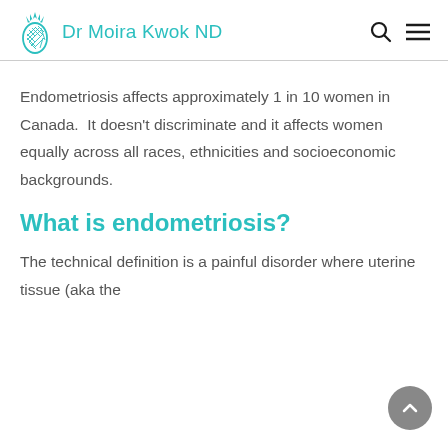Dr Moira Kwok ND
Endometriosis affects approximately 1 in 10 women in Canada.  It doesn't discriminate and it affects women equally across all races, ethnicities and socioeconomic backgrounds.
What is endometriosis?
The technical definition is a painful disorder where uterine tissue (aka the